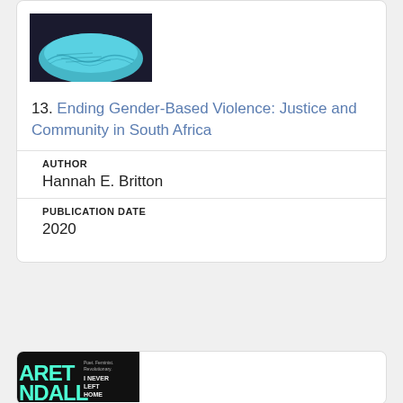[Figure (photo): Book cover image - light blue/teal colored item on dark background, partially visible at top of card]
13. Ending Gender-Based Violence: Justice and Community in South Africa
AUTHOR
Hannah E. Britton
PUBLICATION DATE
2020
[Figure (photo): Book cover for 'I Never Left Home' by Margaret Randall - dark/black cover with teal text, partial view at bottom of page]